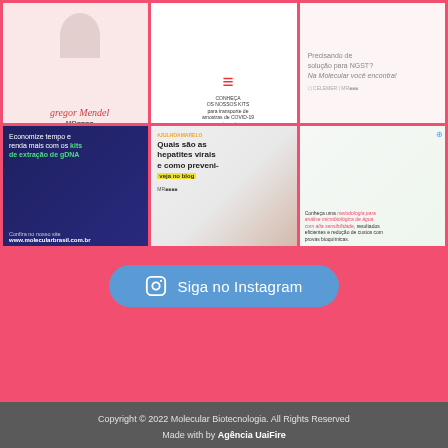[Figure (screenshot): Instagram grid of 6 posts from Molecular Biotecnologia: Gregor Mendel post, COVID testing tubes post, NGST solution post, gDNA extraction kits post, viral hepatitis blog post, microbiological water analysis post]
Siga no Instagram
Copyright © 2022 Molecular Biotecnologia. All Rights Reserved
Made with by Agência UaiFire